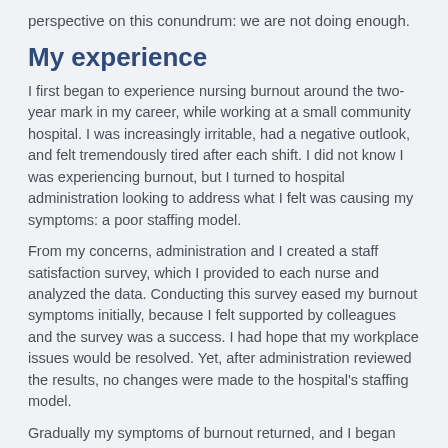perspective on this conundrum: we are not doing enough.
My experience
I first began to experience nursing burnout around the two-year mark in my career, while working at a small community hospital. I was increasingly irritable, had a negative outlook, and felt tremendously tired after each shift. I did not know I was experiencing burnout, but I turned to hospital administration looking to address what I felt was causing my symptoms: a poor staffing model.
From my concerns, administration and I created a staff satisfaction survey, which I provided to each nurse and analyzed the data. Conducting this survey eased my burnout symptoms initially, because I felt supported by colleagues and the survey was a success. I had hope that my workplace issues would be resolved. Yet, after administration reviewed the results, no changes were made to the hospital's staffing model.
Gradually my symptoms of burnout returned, and I began